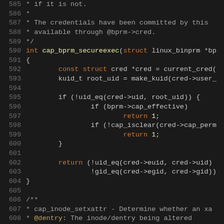[Figure (screenshot): Source code viewer showing C code lines 585-614, dark background with syntax highlighting. Shows cap_bprm_secureexec function and beginning of cap_inode_setxattr documentation comment.]